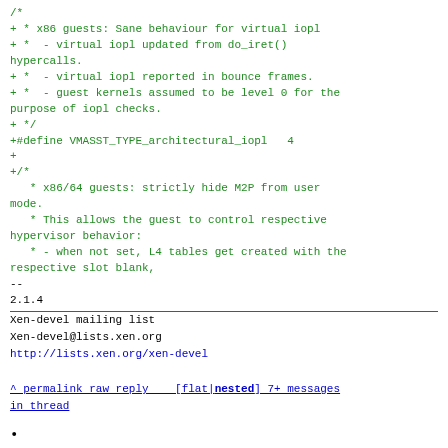/*
+ * x86 guests: Sane behaviour for virtual iopl
+ *  - virtual iopl updated from do_iret()
hypercalls.
+ *  - virtual iopl reported in bounce frames.
+ *  - guest kernels assumed to be level 0 for the
purpose of iopl checks.
+ */
+#define VMASST_TYPE_architectural_iopl   4
+
+/*
   * x86/64 guests: strictly hide M2P from user
mode.
   * This allows the guest to control respective
hypervisor behavior:
   * - when not set, L4 tables get created with the
respective slot blank,
--
2.1.4
Xen-devel mailing list
Xen-devel@lists.xen.org
http://lists.xen.org/xen-devel

^ permalink raw reply   [flat|nested] 7+ messages
in thread
•